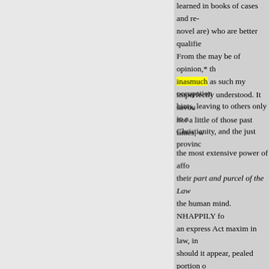learned in books of cases and re- novel are) who are better qualifie From the may be of opinion,* th inasmuch as such my occupation hints, leaving to others only in a Christianity, and the just provinc
imperfectly understood. It savou not a little of those past times, w
the most extensive power of affo their part and purcel of the Law the human mind. NHAPPILY fo an express Act maxim in law, in should it appear, pealed portion o Mary,) still remains in violation o injurious to the interests of assai made subject to fines and pose in commits upon me a manifest eve tions instituted against the publis this cerned, has scarcely a right t by quotathe principal ground of